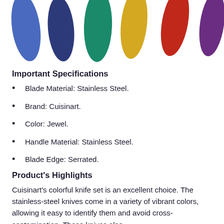[Figure (photo): Six colorful knife handles in blue, dark blue, teal/green, yellow/gold, red, and purple arranged in a row, partially cropped at the top of the page.]
Important Specifications
Blade Material: Stainless Steel.
Brand: Cuisinart.
Color: Jewel.
Handle Material: Stainless Steel.
Blade Edge: Serrated.
Product's Highlights
Cuisinart's colorful knife set is an excellent choice. The stainless-steel knives come in a variety of vibrant colors, allowing it easy to identify them and avoid cross-contamination. These knives also